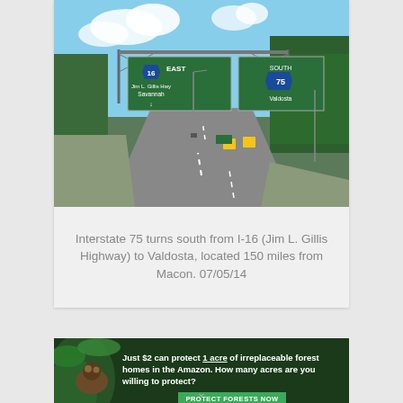[Figure (photo): Highway photo showing Interstate 75 junction with I-16 (Jim L. Gillis Highway). Green overhead highway signs visible: one for I-16 East / Jim L. Gillis Hwy / Savannah with downward arrow, and one for South 75 / Valdosta. Road curves to the right with trees on both sides and blue sky with clouds above.]
Interstate 75 turns south from I-16 (Jim L. Gillis Highway) to Valdosta, located 150 miles from Macon. 07/05/14
[Figure (photo): Advertisement banner: rainforest background with animal (possibly sloth). Text reads: 'Just $2 can protect 1 acre of irreplaceable forest homes in the Amazon. How many acres are you willing to protect?' Green button: 'PROTECT FORESTS NOW']